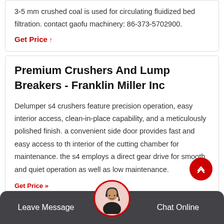3-5 mm crushed coal is used for circulating fluidized bed filtration. contact gaofu machinery: 86-373-5702900.
Get Price ↑
Premium Crushers And Lump Breakers - Franklin Miller Inc
Delumper s4 crushers feature precision operation, easy interior access, clean-in-place capability, and a meticulously polished finish. a convenient side door provides fast and easy access to the interior of the cutting chamber for maintenance. the s4 employs a direct gear drive for smooth and quiet operation as well as low maintenance.
Get Price »
Leave Message   Chat Online